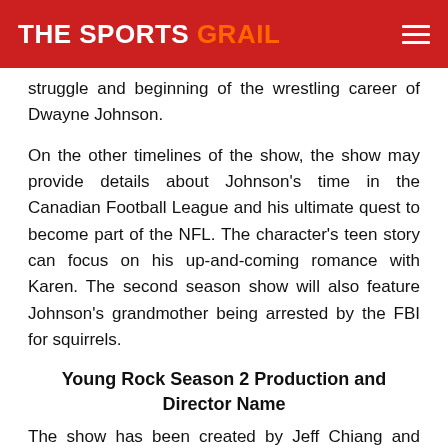THE SPORTS GRAIL
struggle and beginning of the wrestling career of Dwayne Johnson.
On the other timelines of the show, the show may provide details about Johnson’s time in the Canadian Football League and his ultimate quest to become part of the NFL. The character’s teen story can focus on his up-and-coming romance with Karen. The second season show will also feature Johnson’s grandmother being arrested by the FBI for squirrels.
Young Rock Season 2 Production and Director Name
The show has been created by Jeff Chiang and Nahnatchka Khan. The executive producers are Brian